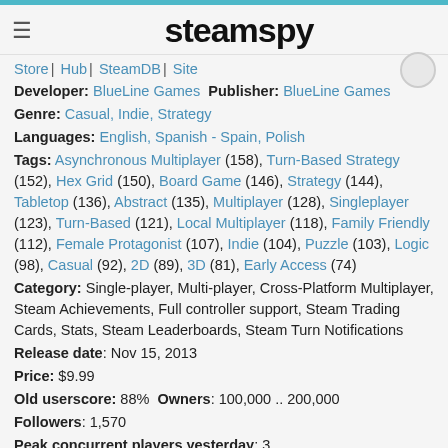steamspy
Store | Hub | SteamDB | Site
Developer: BlueLine Games Publisher: BlueLine Games
Genre: Casual, Indie, Strategy
Languages: English, Spanish - Spain, Polish
Tags: Asynchronous Multiplayer (158), Turn-Based Strategy (152), Hex Grid (150), Board Game (146), Strategy (144), Tabletop (136), Abstract (135), Multiplayer (128), Singleplayer (123), Turn-Based (121), Local Multiplayer (118), Family Friendly (112), Female Protagonist (107), Indie (104), Puzzle (103), Logic (98), Casual (92), 2D (89), 3D (81), Early Access (74)
Category: Single-player, Multi-player, Cross-Platform Multiplayer, Steam Achievements, Full controller support, Steam Trading Cards, Stats, Steam Leaderboards, Steam Turn Notifications
Release date: Nov 15, 2013
Price: $9.99
Old userscore: 88% Owners: 100,000 .. 200,000
Followers: 1,570
Peak concurrent players yesterday: 3
YouTube stats: 182,724 views and 2,725 comments for top 50 videos uploaded last week, over 50 new videos uploaded